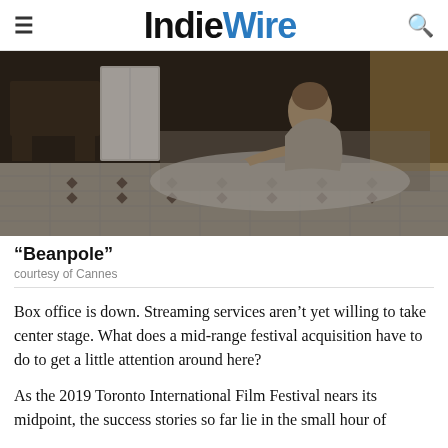IndieWire
[Figure (photo): A woman sits on a bed in a rustic room with a tiled floor, looking to the side. Still from the film 'Beanpole'.]
“Beanpole”
courtesy of Cannes
Box office is down. Streaming services aren’t yet willing to take center stage. What does a mid-range festival acquisition have to do to get a little attention around here?
As the 2019 Toronto International Film Festival nears its midpoint, the success stories so far lie in the small hour of